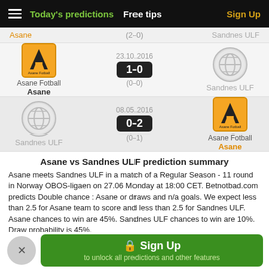Today's predictions   Free tips   Sign Up
Asane   (2-0)   Sandnes ULF
[Figure (infographic): Match result: Asane vs Sandnes ULF, 23.10.2016, score 1-0, half-time (0-0)]
[Figure (infographic): Match result: Sandnes ULF vs Asane, 08.05.2016, score 0-2, half-time (0-1)]
Asane vs Sandnes ULF prediction summary
Asane meets Sandnes ULF in a match of a Regular Season - 11 round in Norway OBOS-ligaen on 27.06 Monday at 18:00 CET. Betnotbad.com predicts Double chance : Asane or draws and n/a goals. We expect less than 2.5 for Asane team to score and less than 2.5 for Sandnes ULF. Asane chances to win are 45%. Sandnes ULF chances to win are 10%. Draw probability is 45%.
Sign Up
to unlock all predictions and other features